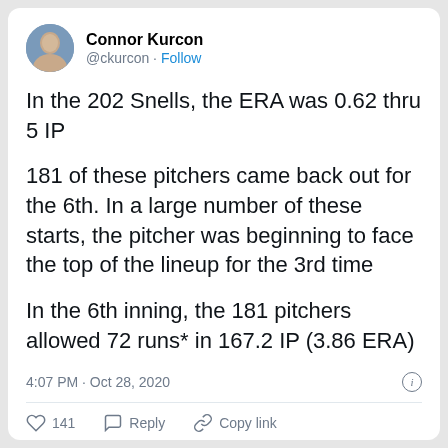[Figure (photo): Twitter/X post by Connor Kurcon (@ckurcon) with profile avatar photo]
Connor Kurcon
@ckurcon · Follow
In the 202 Snells, the ERA was 0.62 thru 5 IP
181 of these pitchers came back out for the 6th. In a large number of these starts, the pitcher was beginning to face the top of the lineup for the 3rd time
In the 6th inning, the 181 pitchers allowed 72 runs* in 167.2 IP (3.86 ERA)
4:07 PM · Oct 28, 2020
141   Reply   Copy link
Read 16 replies